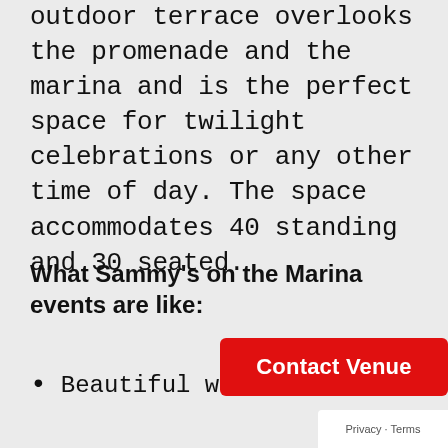outdoor terrace overlooks the promenade and the marina and is the perfect space for twilight celebrations or any other time of day. The space accommodates 40 standing and 30 seated.
What Sammy's on the Marina events are like:
Beautiful waterfr…
[Figure (other): Red 'Contact Venue' button overlay]
Privacy · Terms